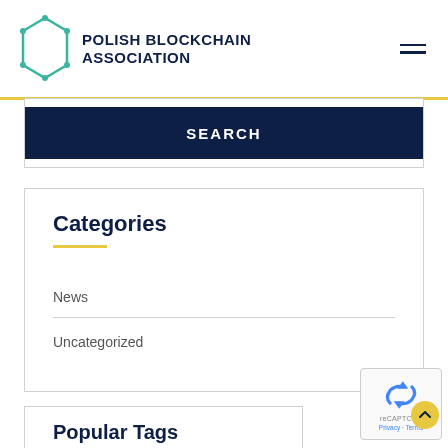POLISH BLOCKCHAIN ASSOCIATION
SEARCH
Categories
News
Uncategorized
Popular Tags